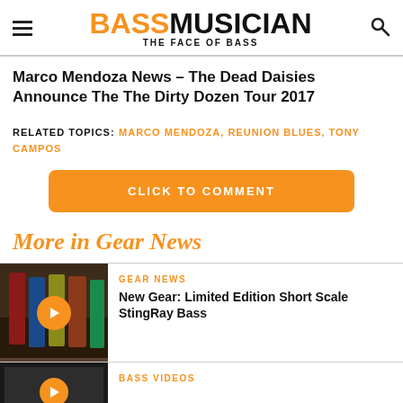BASS MUSICIAN THE FACE OF BASS
Marco Mendoza News – The Dead Daisies Announce The The Dirty Dozen Tour 2017
RELATED TOPICS: MARCO MENDOZA, REUNION BLUES, TONY CAMPOS
CLICK TO COMMENT
More in Gear News
GEAR NEWS
New Gear: Limited Edition Short Scale StingRay Bass
BASS VIDEOS